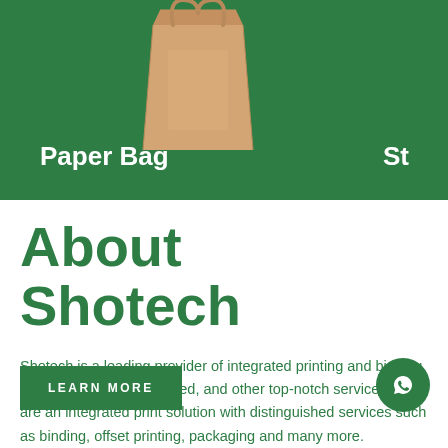[Figure (photo): Paper bag product card on green background with a brown paper bag image and 'Paper Bag' label in white text. Partial green strip visible on left and right edges.]
About Shotech
Shotech is a leading provider of integrated printing and binding services with quality, speed, and other top-notch services. We are an integrated print solution with distinguished services such as binding, offset printing, packaging and many more.
[Figure (illustration): Green 'LEARN MORE' button]
[Figure (logo): WhatsApp icon in a green circle button]